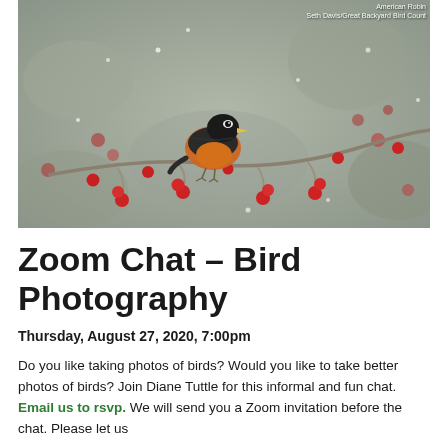[Figure (photo): An American Robin perched on a branch with red berries, photographed in winter/snowy conditions. Credit: Seth Davis/Great Backyard Bird Count]
American Robin
Seth Davis/Great Backyard Bird Count
Zoom Chat – Bird Photography
Thursday, August 27, 2020, 7:00pm
Do you like taking photos of birds? Would you like to take better photos of birds? Join Diane Tuttle for this informal and fun chat. Email us to rsvp. We will send you a Zoom invitation before the chat. Please let us